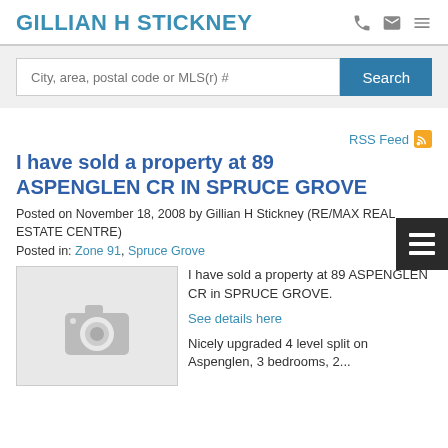GILLIAN H STICKNEY
City, area, postal code or MLS(r) #
I have sold a property at 89 ASPENGLEN CR IN SPRUCE GROVE
Posted on November 18, 2008 by Gillian H Stickney (RE/MAX REAL ESTATE CENTRE)
Posted in: Zone 91, Spruce Grove
[Figure (photo): Placeholder camera icon image for property listing]
I have sold a property at 89 ASPENGLEN CR in SPRUCE GROVE.
See details here
Nicely upgraded 4 level split on Aspenglen, 3 bedrooms, 2...